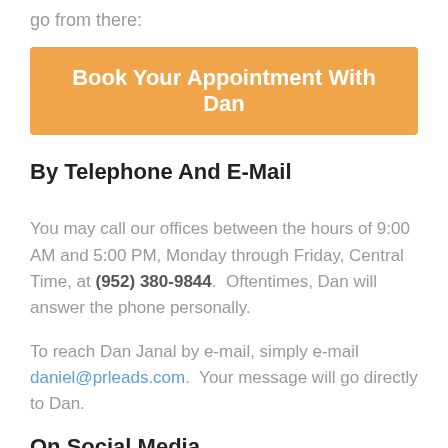go from there:
[Figure (other): Orange button: Book Your Appointment With Dan]
By Telephone And E-Mail
You may call our offices between the hours of 9:00 AM and 5:00 PM, Monday through Friday, Central Time, at (952) 380-9844.  Oftentimes, Dan will answer the phone personally.
To reach Dan Janal by e-mail, simply e-mail daniel@prleads.com.  Your message will go directly to Dan.
On Social Media
Click the links below to connect with Dan